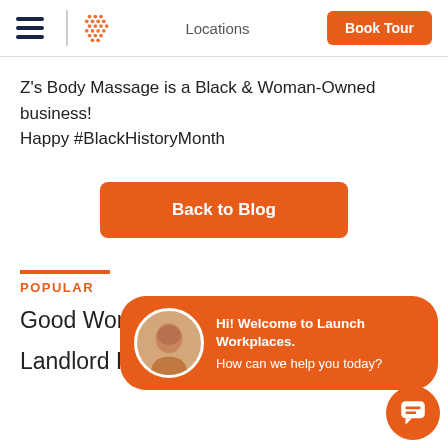Locations  Book Tour
Z's Body Massage is a Black & Woman-Owned business! Happy #BlackHistoryMonth
Back to Blog
POPULAR
Good Works
Landlord Resources
[Figure (screenshot): Chat widget overlay with avatar and text: Hi! Welcome to Launch Workplaces. How can we help you today?]